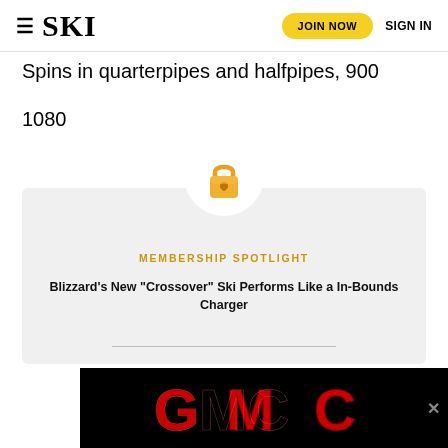≡ SKI  JOIN NOW  SIGN IN
Spins in quarterpipes and halfpipes, 900
1080
[Figure (infographic): Membership Spotlight card with lock icon, two article headlines: 'Blizzard’s New “Crossover” Ski Performs Like a In-Bounds Charger' and 'For This Pro Skier, Racing 100 Miles Is Just What the Therapist Ordered']
[Figure (logo): GMC advertisement banner with red GMC logo on black background with close button]